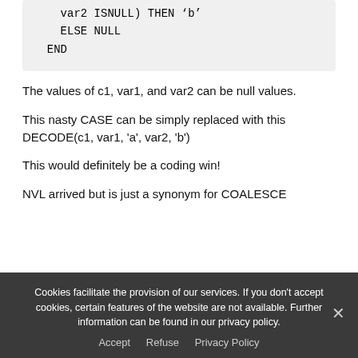var2 ISNULL) THEN 'b'
    ELSE NULL
  END
The values of c1, var1, and var2 can be null values.
This nasty CASE can be simply replaced with this DECODE(c1, var1, 'a', var2, 'b')
This would definitely be a coding win!
NVL arrived but is just a synonym for COALESCE
Cookies facilitate the provision of our services. If you don't accept cookies, certain features of the website are not available. Further information can be found in our privacy policy.
Accept   Refuse   Privacy Policy